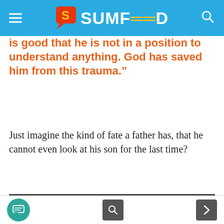SUMFEED
is good that he is not in a position to understand anything. God has saved him from this trauma.”
Just imagine the kind of fate a father has, that he cannot even look at his son for the last time?
[Figure (photo): A crowd of people surrounding a flower-covered body being carried, with press photographers and TV cameras, at what appears to be a funeral procession.]